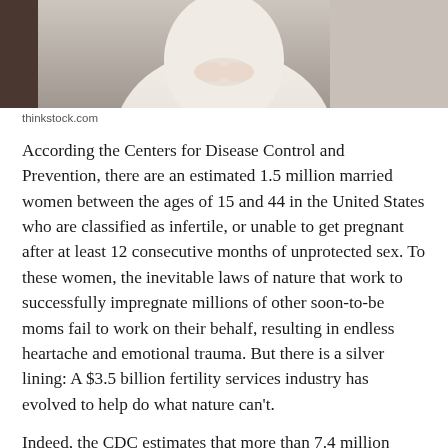[Figure (photo): Cropped photo of a person in white clothing, hands visible, seated on a light-colored surface]
thinkstock.com
According the Centers for Disease Control and Prevention, there are an estimated 1.5 million married women between the ages of 15 and 44 in the United States who are classified as infertile, or unable to get pregnant after at least 12 consecutive months of unprotected sex. To these women, the inevitable laws of nature that work to successfully impregnate millions of other soon-to-be moms fail to work on their behalf, resulting in endless heartache and emotional trauma. But there is a silver lining: A $3.5 billion fertility services industry has evolved to help do what nature can't.
Indeed, the CDC estimates that more than 7.4 million women in the U.S. have ever used fertility services. The problem, though, is that not all of those treatments resulted in a baby. The question then becomes, how do women determine when